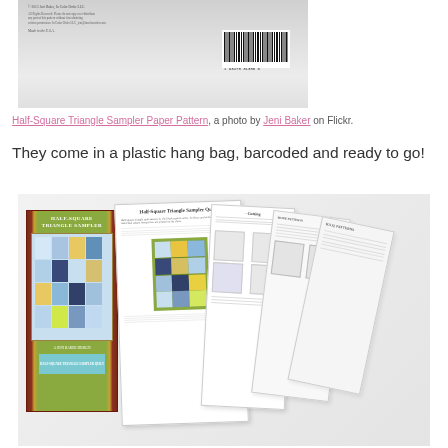[Figure (photo): Close-up photo of the back of a plastic hang bag package showing copyright text, barcode, and 'Made in the U.S.A.' text on a white/grey background.]
Half-Square Triangle Sampler Paper Pattern, a photo by Jeni Baker on Flickr.
They come in a plastic hang bag, barcoded and ready to go!
[Figure (photo): Photo showing the Half-Square Triangle Sampler quilt pattern packet (in a red/brown and green plastic hang bag with quilt image on front) laid beside several unfolded paper pattern sheets fanned out, displaying the pattern instructions and quilt block images, on a light grey background.]